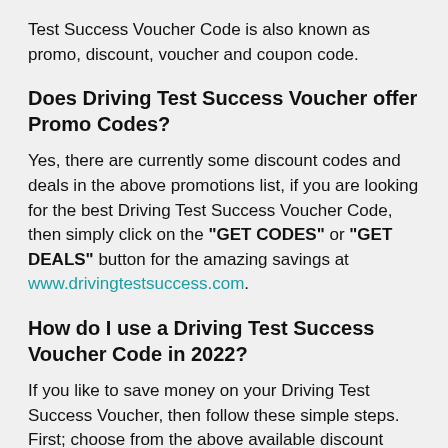Test Success Voucher Code is also known as promo, discount, voucher and coupon code.
Does Driving Test Success Voucher offer Promo Codes?
Yes, there are currently some discount codes and deals in the above promotions list, if you are looking for the best Driving Test Success Voucher Code, then simply click on the "GET CODES" or "GET DEALS" button for the amazing savings at www.drivingtestsuccess.com.
How do I use a Driving Test Success Voucher Code in 2022?
If you like to save money on your Driving Test Success Voucher, then follow these simple steps. First; choose from the above available discount code that you can find on the Driving Test Success Voucher page. Once you have selected the desired product in the cart, simply copy and paste the code at the checkout to apply the discount.